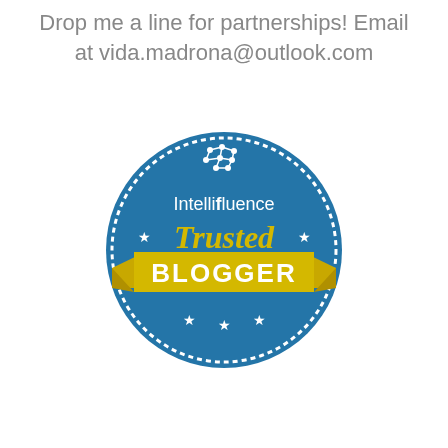Drop me a line for partnerships! Email at vida.madrona@outlook.com
[Figure (logo): Intellifluence Trusted Blogger badge — circular blue seal with scalloped white border, network/brain icon at top, text 'Intellifluence' in white with bold 'i', italic yellow script 'Trusted' with white stars on either side, gold ribbon banner across bottom reading 'BLOGGER' in white bold caps, three white stars at bottom of circle.]